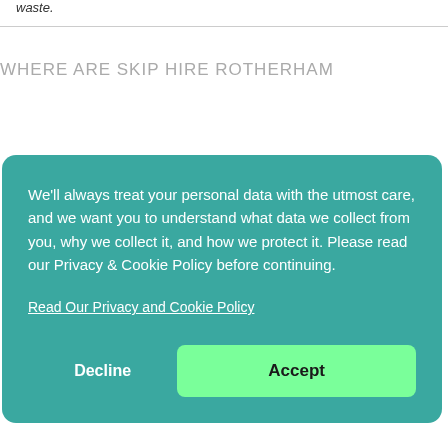waste.
WHERE ARE SKIP HIRE ROTHERHAM
We'll always treat your personal data with the utmost care, and we want you to understand what data we collect from you, why we collect it, and how we protect it. Please read our Privacy & Cookie Policy before continuing.
Read Our Privacy and Cookie Policy
Decline
Accept